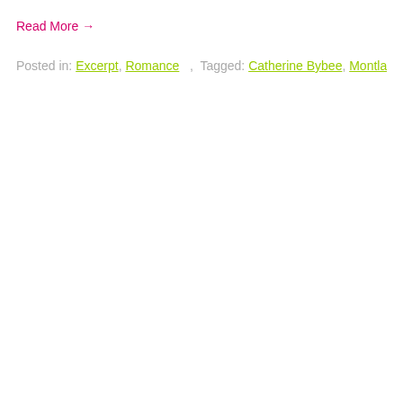Read More →
Posted in: Excerpt, Romance   ,  Tagged: Catherine Bybee, Montlake Roma...